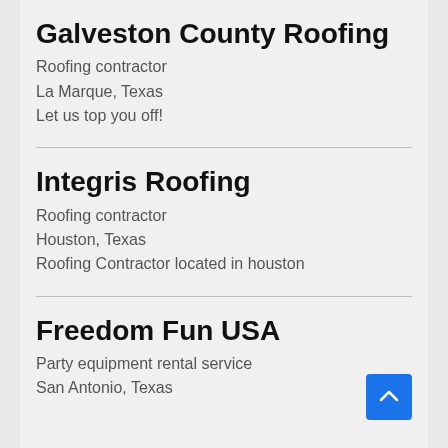Galveston County Roofing
Roofing contractor
La Marque, Texas
Let us top you off!
Integris Roofing
Roofing contractor
Houston, Texas
Roofing Contractor located in houston
Freedom Fun USA
Party equipment rental service
San Antonio, Texas